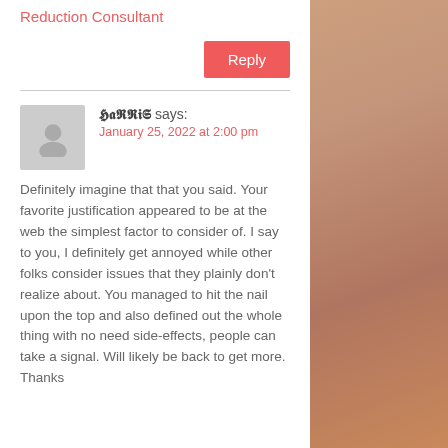Reduction Consultant
Reply
𝕳𝖆𝕽𝕽𝖎𝕾 says:
January 25, 2022 at 2:00 pm
Definitely imagine that that you said. Your favorite justification appeared to be at the web the simplest factor to consider of. I say to you, I definitely get annoyed while other folks consider issues that they plainly don't realize about. You managed to hit the nail upon the top and also defined out the whole thing with no need side-effects, people can take a signal. Will likely be back to get more. Thanks